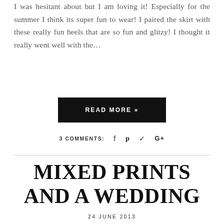I was hesitant about but I am loving it! Especially for the summer I think its super fun to wear! I paired the skirt with these really fun heels that are so fun and glitzy! I thought it really went well with the…
READ MORE »
3 COMMENTS:
MIXED PRINTS AND A WEDDING
24 JUNE 2013